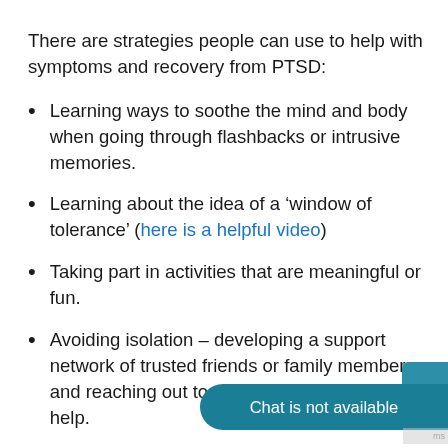There are strategies people can use to help with symptoms and recovery from PTSD:
Learning ways to soothe the mind and body when going through flashbacks or intrusive memories.
Learning about the idea of a ‘window of tolerance’ (here is a helpful video)
Taking part in activities that are meaningful or fun.
Avoiding isolation – developing a support network of trusted friends or family members. and reaching out to them when you need help.